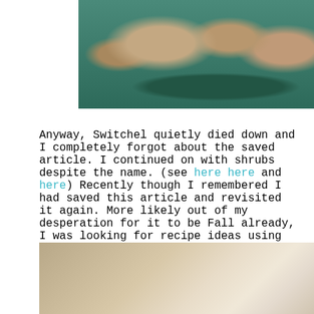[Figure (photo): Photo of ginger root pieces on a teal/green wooden surface, cropped at top]
Anyway, Switchel quietly died down and I completely forgot about the saved article. I continued on with shrubs despite the name. (see here here and here) Recently though I remembered I had saved this article and revisited it again. More likely out of my desperation for it to be Fall already, I was looking for recipe ideas using apples. Instead it uses apple cider vinegar, a starting point I'd use to adapt to my own Autumnal tipple.
[Figure (photo): Photo partially visible at bottom, appears to be a drink or liquid with warm beige/tan tones]